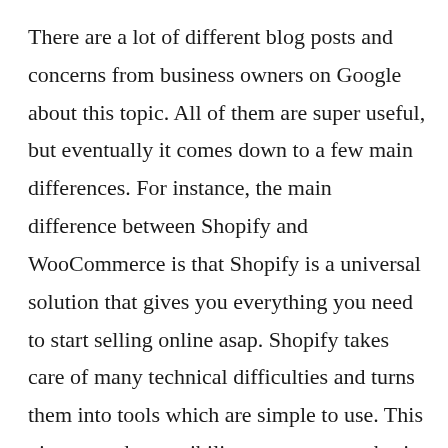There are a lot of different blog posts and concerns from business owners on Google about this topic. All of them are super useful, but eventually it comes down to a few main differences. For instance, the main difference between Shopify and WooCommerce is that Shopify is a universal solution that gives you everything you need to start selling online asap. Shopify takes care of many technical difficulties and turns them into tools which are simple to use. This gives you the possibility to set up your basic online store in a few minutes. But thereby you don't have too much control over it. On the other hand WooCommerce is a stand-alone